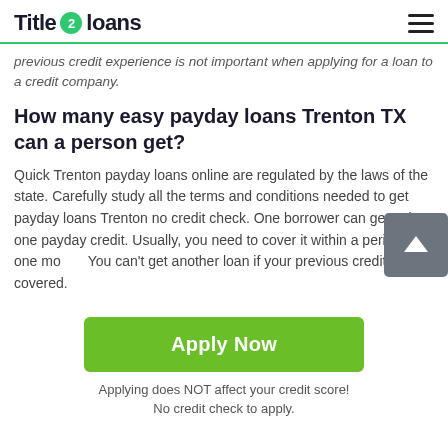Title 2 loans
previous credit experience is not important when applying for a loan to a credit company.
How many easy payday loans Trenton TX can a person get?
Quick Trenton payday loans online are regulated by the laws of the state. Carefully study all the terms and conditions needed to get payday loans Trenton no credit check. One borrower can get only one payday credit. Usually, you need to cover it within a period of one month. You can't get another loan if your previous credit is not covered.
Apply Now
Applying does NOT affect your credit score!
No credit check to apply.